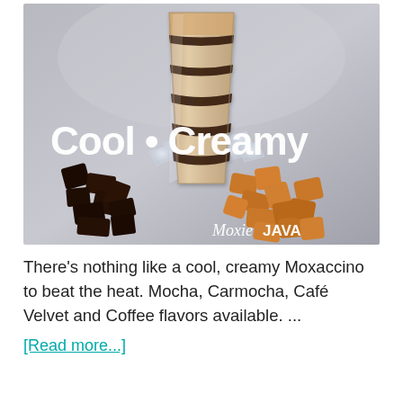[Figure (photo): A layered iced coffee drink (Moxaccino) in a tall glass with chocolate and caramel sauce stripes, surrounded by ice cubes, dark chocolate chunks on the left and caramel candies on the right. Text overlay reads 'Cool • Creamy' in white bold font. Moxie JAVA logo in bottom right corner.]
There's nothing like a cool, creamy Moxaccino to beat the heat. Mocha, Carmocha, Café Velvet and Coffee flavors available. ...
[Read more...]